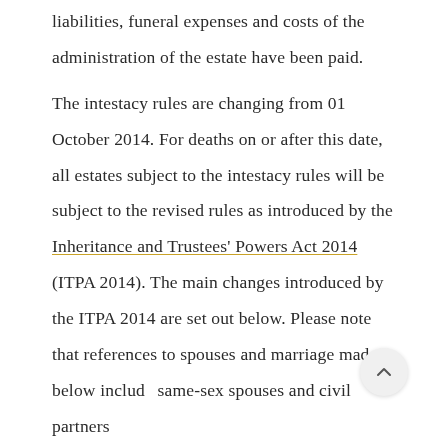liabilities, funeral expenses and costs of the administration of the estate have been paid.
The intestacy rules are changing from 01 October 2014. For deaths on or after this date, all estates subject to the intestacy rules will be subject to the revised rules as introduced by the Inheritance and Trustees' Powers Act 2014 (ITPA 2014). The main changes introduced by the ITPA 2014 are set out below. Please note that references to spouses and marriage made below include same-sex spouses and civil partners